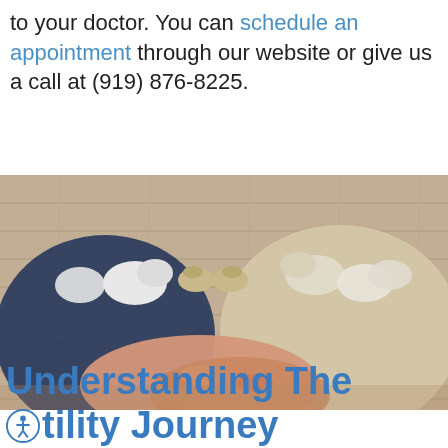to your doctor. You can schedule an appointment through our website or give us a call at (919) 876-8225.
[Figure (photo): Overhead view of two adults holding hands on a wooden floor, with baby shoes and adult socks arranged between them, symbolizing family and fertility.]
Understanding The Fertility Journey